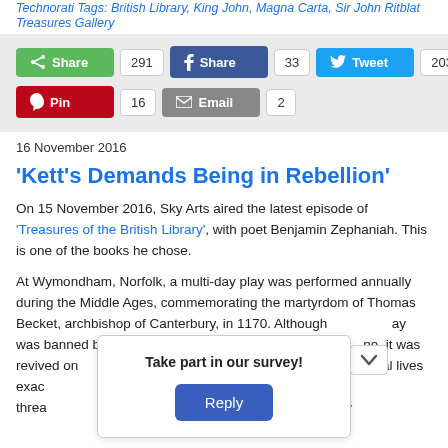Technorati Tags: British Library, King John, Magna Carta, Sir John Ritblat Treasures Gallery
[Figure (other): Social sharing bar with green Share (291), Facebook Share (33), Twitter Tweet (203), Pinterest Pin (16), Email (2) buttons on grey background]
16 November 2016
'Kett's Demands Being in Rebellion'
On 15 November 2016, Sky Arts aired the latest episode of 'Treasures of the British Library', with poet Benjamin Zephaniah. This is one of the books he chose.
At Wymondham, Norfolk, a multi-day play was performed annually during the Middle Ages, commemorating the martyrdom of Thomas Becket, archbishop of Canterbury, in 1170. Although the play was banned by ... ne, it was revived on ... d spiritual lives exac... had been threa... on land by
[Figure (other): Survey popup overlay with text 'Take part in our survey!' and a blue Reply button]